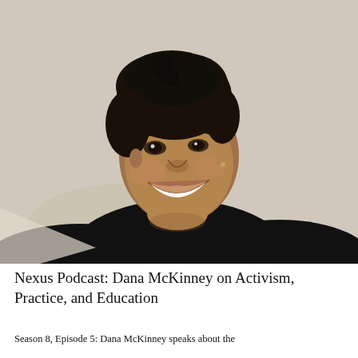[Figure (photo): Portrait photo of Dana McKinney, a Black woman with short natural curly hair, wearing a black turtleneck, smiling and looking slightly to the side, photographed against a light textured wall background.]
Nexus Podcast: Dana McKinney on Activism, Practice, and Education
Season 8, Episode 5: Dana McKinney speaks about the...